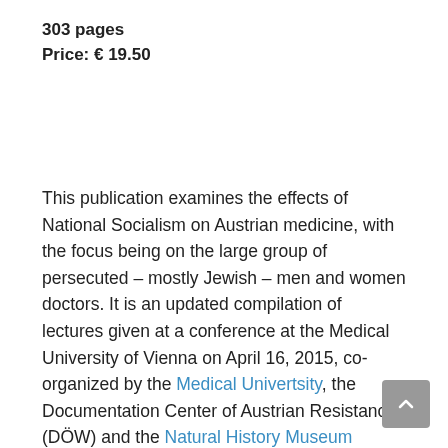303 pages
Price: € 19.50
This publication examines the effects of National Socialism on Austrian medicine, with the focus being on the large group of persecuted – mostly Jewish – men and women doctors. It is an updated compilation of lectures given at a conference at the Medical University of Vienna on April 16, 2015, co-organized by the Medical Univertsity, the Documentation Center of Austrian Resistance (DÖW) and the Natural History Museum Vienna. The conference had been sponsored by the Center for Medicine after the Holocaust (Houston, TX).